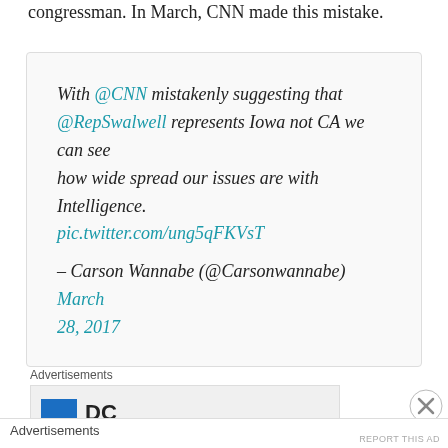congressman. In March, CNN made this mistake.
With @CNN mistakenly suggesting that @RepSwalwell represents Iowa not CA we can see how wide spread our issues are with Intelligence. pic.twitter.com/ung5qFKVsT — Carson Wannabe (@Carsonwannabe) March 28, 2017
Advertisements
Advertisements